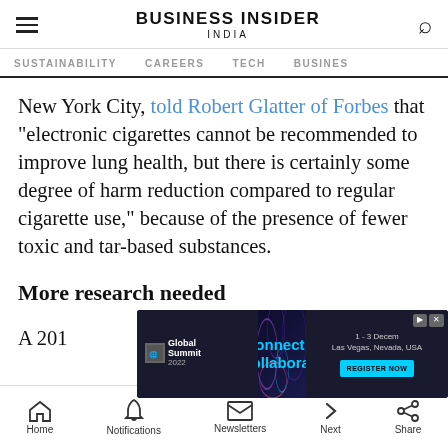BUSINESS INSIDER INDIA
SUSTAINABILITY  CAREERS  TECH  BUSINESS
New York City, told Robert Glatter of Forbes that "electronic cigarettes cannot be recommended to improve lung health, but there is certainly some degree of harm reduction compared to regular cigarette use," because of the presence of fewer toxic and tar-based substances.
More research needed
A 2019 review from the Centers for Disease Control suggested the five major e-cigarette
Home  Notifications  Newsletters  Next  Share